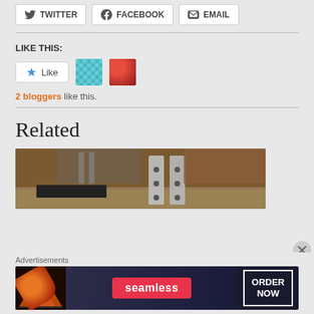[Figure (screenshot): Share buttons row: TWITTER, FACEBOOK, EMAIL with icons]
LIKE THIS:
[Figure (screenshot): Like button with star icon, and two blogger avatars (teal patterned, red)]
2 bloggers like this.
Related
[Figure (photo): Kitchen countertop photo showing pizza-related equipment with metal racks]
Advertisements
[Figure (screenshot): Seamless advertisement banner with pizza image, seamless logo, and ORDER NOW button]